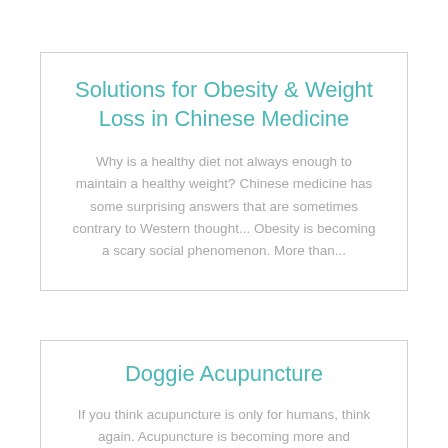Solutions for Obesity & Weight Loss in Chinese Medicine
Why is a healthy diet not always enough to maintain a healthy weight? Chinese medicine has some surprising answers that are sometimes contrary to Western thought... Obesity is becoming a scary social phenomenon. More than...
Doggie Acupuncture
If you think acupuncture is only for humans, think again. Acupuncture is becoming more and